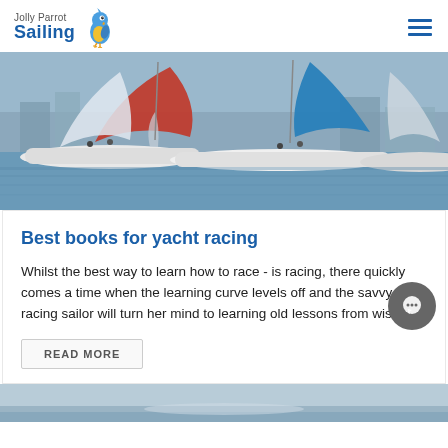Jolly Parrot Sailing
[Figure (photo): Sailing race photo showing multiple sailboats with colorful spinnakers (red, blue, white) on open water near a marina]
Best books for yacht racing
Whilst the best way to learn how to race - is racing, there quickly comes a time when the learning curve levels off and the savvy racing sailor will turn her mind to learning old lessons from wise...
[Figure (photo): Bottom strip showing a partial sailing/water scene in muted blue-grey tones]